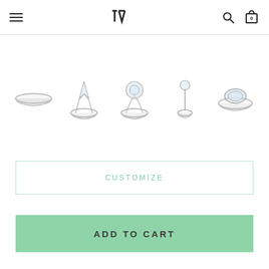Navigation header with hamburger menu, TD logo, search icon, and cart icon (0 items)
[Figure (photo): Row of five silver diamond rings shown as small product thumbnails against white background]
CUSTOMIZE
ADD TO CART